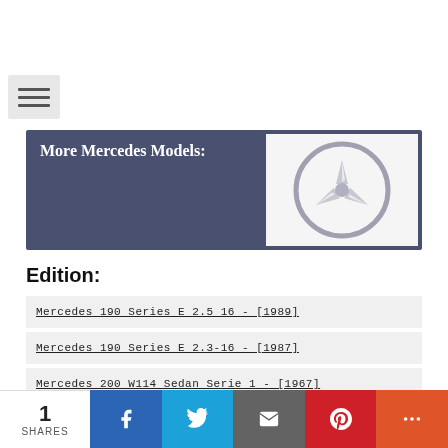[Figure (other): Hamburger menu button with three horizontal lines]
[Figure (other): Dark blue-grey banner with text 'More Mercedes Models:' and Mercedes-Benz star logo on right]
Edition:
Mercedes 190 Series E 2.5 16 - [1989]
Mercedes 190 Series E 2.3-16 - [1987]
Mercedes 200 W114 Sedan Serie 1 - [1967]
Mercedes 230 CE - [1981]
1 SHARES | Facebook | Twitter | Email | Pinterest | More